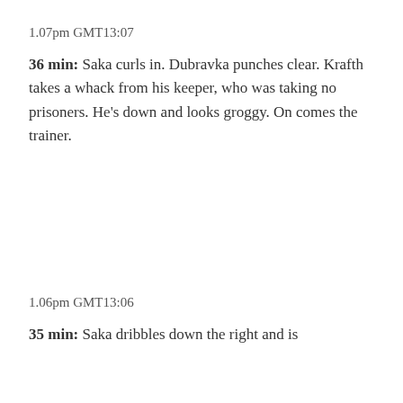1.07pm GMT13:07
36 min: Saka curls in. Dubravka punches clear. Krafth takes a whack from his keeper, who was taking no prisoners. He's down and looks groggy. On comes the trainer.
1.06pm GMT13:06
35 min: Saka dribbles down the right and is